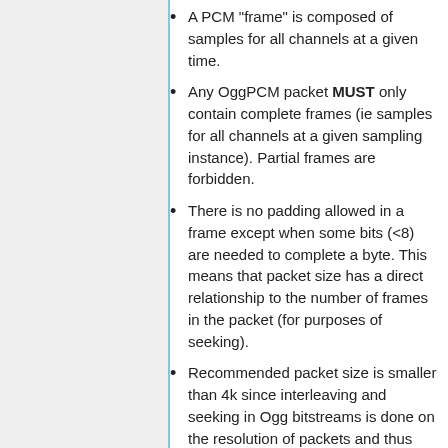A PCM "frame" is composed of samples for all channels at a given time.
Any OggPCM packet MUST only contain complete frames (ie samples for all channels at a given sampling instance). Partial frames are forbidden.
There is no padding allowed in a frame except when some bits (<8) are needed to complete a byte. This means that packet size has a direct relationship to the number of frames in the packet (for purposes of seeking).
Recommended packet size is smaller than 4k since interleaving and seeking in Ogg bitstreams is done on the resolution of packets and thus